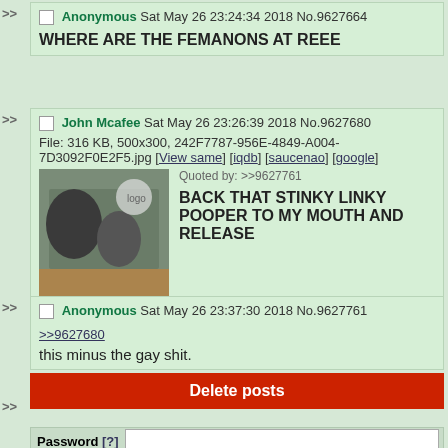>> Anonymous Sat May 26 23:24:34 2018 No.9627664
WHERE ARE THE FEMANONS AT REEE
>> John Mcafee Sat May 26 23:26:39 2018 No.9627680
File: 316 KB, 500x300, 242F7787-956E-4849-A004-7D3092F0E2F5.jpg [View same] [iqdb] [saucenao] [google]
Quoted by: >>9627761
BACK THAT STINKY LINKY POOPER TO MY MOUTH AND RELEASE THE ORACLES
>> Anonymous Sat May 26 23:37:30 2018 No.9627761
>>9627680
this minus the gay shit.
Delete posts
Password [?]
I am human